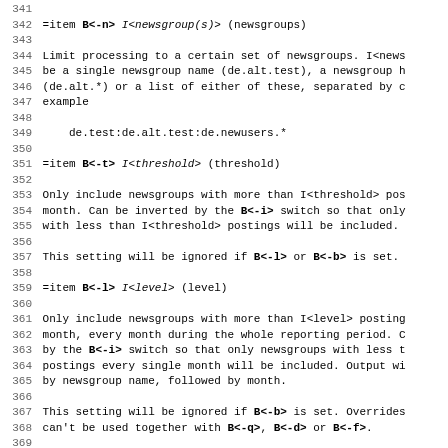341
342 =item B<-n> I<newsgroup(s)> (newsgroups)
343
344 Limit processing to a certain set of newsgroups. I<news
345 be a single newsgroup name (de.alt.test), a newsgroup h
346 (de.alt.*) or a list of either of these, separated by c
347 example
348
349     de.test:de.alt.test:de.newusers.*
350
351 =item B<-t> I<threshold> (threshold)
352
353 Only include newsgroups with more than I<threshold> pos
354 month. Can be inverted by the B<-i> switch so that only
355 with less than I<threshold> postings will be included.
356
357 This setting will be ignored if B<-l> or B<-b> is set.
358
359 =item B<-l> I<level> (level)
360
361 Only include newsgroups with more than I<level> posting
362 month, every month during the whole reporting period. C
363 by the B<-i> switch so that only newsgroups with less t
364 postings every single month will be included. Output wi
365 by newsgroup name, followed by month.
366
367 This setting will be ignored if B<-b> is set. Overrides
368 can't be used together with B<-q>, B<-d> or B<-f>.
369
370 =item B<-b> I<n> (best of)
371
372 Create a list of the I<n> newsgroups with the most post
373 ...